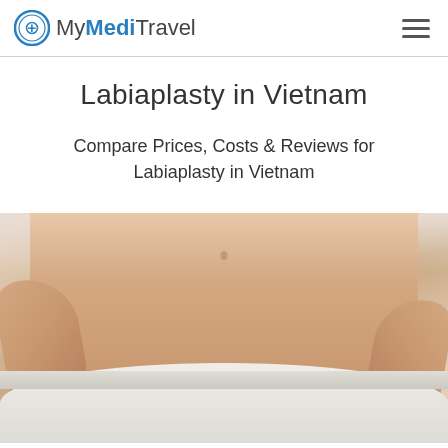MyMediTravel
Labiaplasty in Vietnam
Compare Prices, Costs & Reviews for Labiaplasty in Vietnam
[Figure (photo): Photo of a woman's torso and lower body wearing white underwear, with hands placed on hips, representing a labiaplasty procedure page.]